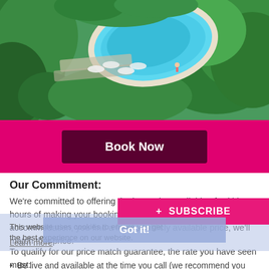[Figure (photo): Aerial view of a hotel pool surrounded by green trees, lounge chairs, and umbrellas on a sunny day]
Book Now
Our Commitment:
We're committed to offering the best price available. If, within 24 hours of making your booking or researching your accommodation, you find a lower, publicly available price, we'll match that price.
Learn more
+ SUBSCRIBE
This website uses cookies to ensure you get the best experience on our website.
Got it!
To qualify for our price match guarantee, the rate you have seen must:
Be live and available at the time you call (we recommend you take a screenshot of the webpage and keep it so that we can compare prices)